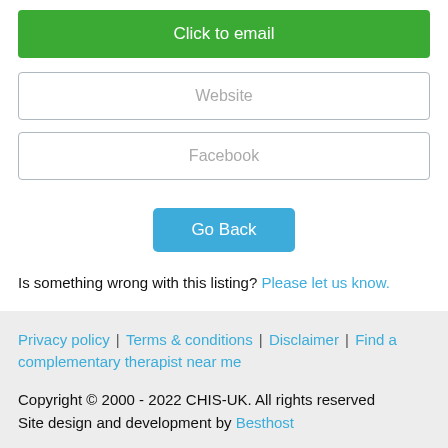Click to email
Website
Facebook
Go Back
Is something wrong with this listing? Please let us know.
Privacy policy | Terms & conditions | Disclaimer | Find a complementary therapist near me
Copyright © 2000 - 2022 CHIS-UK. All rights reserved
Site design and development by Besthost